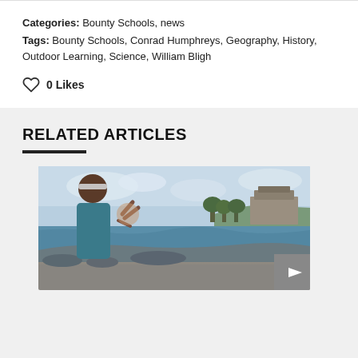Categories: Bounty Schools, news
Tags: Bounty Schools, Conrad Humphreys, Geography, History, Outdoor Learning, Science, William Bligh
0 Likes
RELATED ARTICLES
[Figure (photo): A young person making a peace sign gesture outdoors near a coastal area with rocky shores, trees, and a stone building visible in the background under a cloudy sky.]